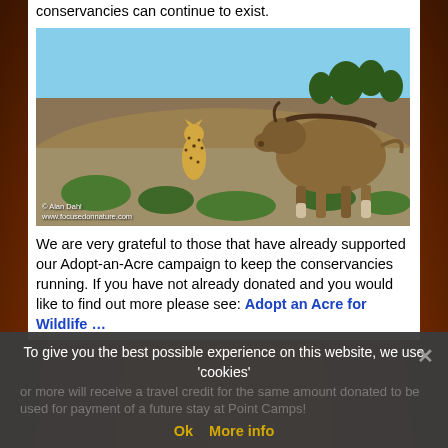conservancies can continue to exist.
[Figure (photo): A cheetah sitting upright in the savanna and a large ungulate (wildebeest or similar) standing in the foreground, with dry grassland and sparse trees in the background. Photo credit: © Alan Dahl, www.focusedonnature.com]
We are very grateful to those that have already supported our Adopt-an-Acre campaign to keep the conservancies running. If you have not already donated and you would like to find out more please see: Adopt an Acre for Wildlife …
To give you the best possible experience on this website, we use 'cookies'
or more will receive a travel credit for the same amount donated to be used for payment of a future stay at Point Camps!
Ok   More info